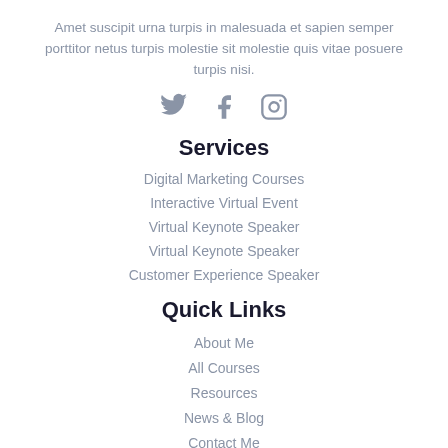Amet suscipit urna turpis in malesuada et sapien semper porttitor netus turpis molestie sit molestie quis vitae posuere turpis nisi.
[Figure (illustration): Three social media icons: Twitter bird, Facebook F, and Instagram camera, rendered in grey.]
Services
Digital Marketing Courses
Interactive Virtual Event
Virtual Keynote Speaker
Virtual Keynote Speaker
Customer Experience Speaker
Quick Links
About Me
All Courses
Resources
News & Blog
Contact Me